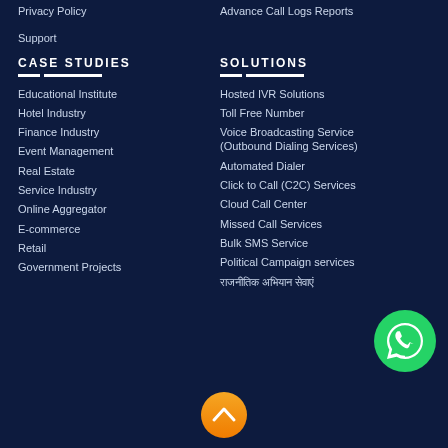Privacy Policy
Advance Call Logs Reports
Support
CASE STUDIES
SOLUTIONS
Educational Institute
Hosted IVR Solutions
Hotel Industry
Toll Free Number
Finance Industry
Voice Broadcasting Service (Outbound Dialing Services)
Event Management
Automated Dialer
Real Estate
Click to Call (C2C) Services
Service Industry
Cloud Call Center
Online Aggregator
Missed Call Services
E-commerce
Bulk SMS Service
Retail
Political Campaign services
Government Projects
राजनीतिक अभियान सेवाएं
[Figure (logo): WhatsApp icon button (green circle with white speech bubble/phone icon)]
[Figure (illustration): Orange scroll-to-top button with white up chevron arrow]